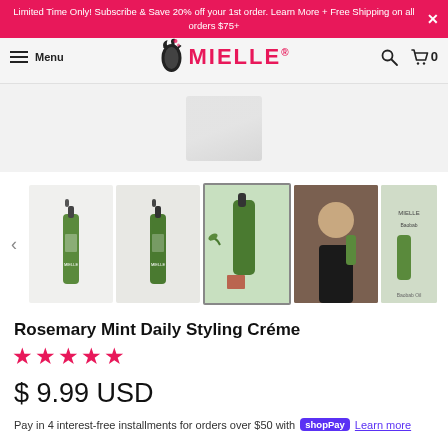Limited Time Only! Subscribe & Save 20% off your 1st order. Learn More + Free Shipping on all orders $75+
Menu  MIELLE  [search] [cart] 0
[Figure (photo): Partial product image visible at top of carousel]
[Figure (photo): Product thumbnail carousel showing Rosemary Mint Daily Styling Creme bottles and lifestyle images. Five thumbnails visible: two standalone product bottles, one styled with rosemary herb, one lifestyle photo of woman holding product, one with additional product and branding.]
Rosemary Mint Daily Styling Créme
★★★★★
$ 9.99 USD
Pay in 4 interest-free installments for orders over $50 with shop Pay Learn more